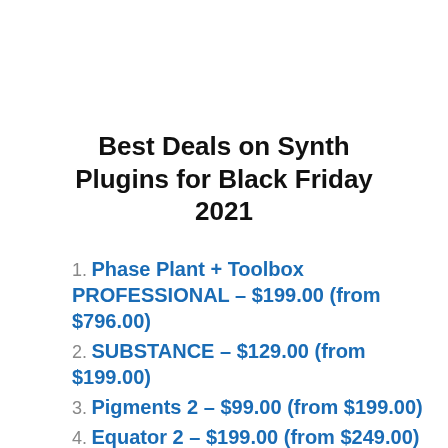Best Deals on Synth Plugins for Black Friday 2021
1. Phase Plant + Toolbox PROFESSIONAL – $199.00 (from $796.00)
2. SUBSTANCE – $129.00 (from $199.00)
3. Pigments 2 – $99.00 (from $199.00)
4. Equator 2 – $199.00 (from $249.00)
5. Parallels – $99.00( from $149.00)
6. SubLab – $40.00 (from $70.00)